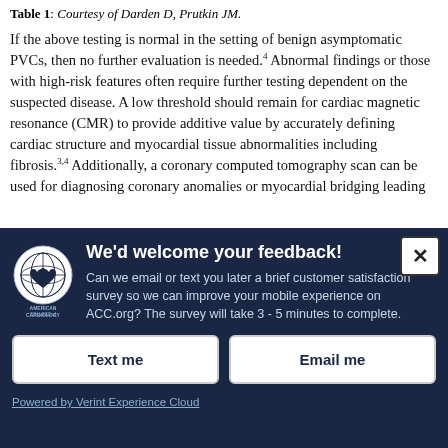Table 1: Courtesy of Darden D, Prutkin JM.
If the above testing is normal in the setting of benign asymptomatic PVCs, then no further evaluation is needed.4 Abnormal findings or those with high-risk features often require further testing dependent on the suspected disease. A low threshold should remain for cardiac magnetic resonance (CMR) to provide additive value by accurately defining cardiac structure and myocardial tissue abnormalities including fibrosis.3,4 Additionally, a coronary computed tomography scan can be used for diagnosing coronary anomalies or myocardial bridging leading
[Figure (other): ACC feedback modal dialog with navy background, ACC logo, title 'We'd welcome your feedback!', survey prompt text, Text me and Email me buttons, and Powered by Verint Experience Cloud link]